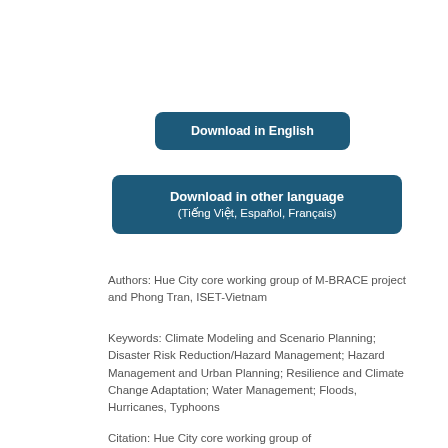[Figure (other): Button: Download in English on dark teal rounded rectangle]
[Figure (other): Button: Download in other language (Tiếng Việt, Español, Français) on dark teal rounded rectangle]
Authors: Hue City core working group of M-BRACE project and Phong Tran, ISET-Vietnam
Keywords: Climate Modeling and Scenario Planning; Disaster Risk Reduction/Hazard Management; Hazard Management and Urban Planning; Resilience and Climate Change Adaptation; Water Management; Floods, Hurricanes, Typhoons
Citation: Hue City core working group of